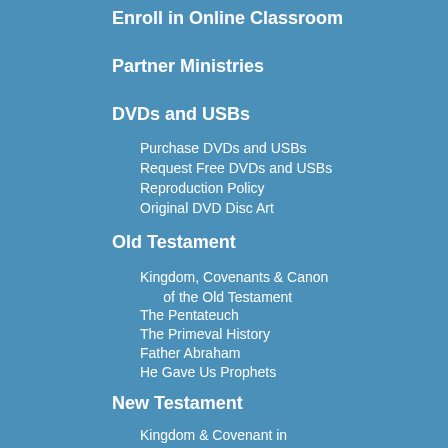Enroll in Online Classroom
Partner Ministries
DVDs and USBs
Purchase DVDs and USBs
Request Free DVDs and USBs
Reproduction Policy
Original DVD Disc Art
Old Testament
Kingdom, Covenants & Canon of the Old Testament
The Pentateuch
The Primeval History
Father Abraham
He Gave Us Prophets
New Testament
Kingdom & Covenant in the New Testament
The Gospels
The Book of Acts